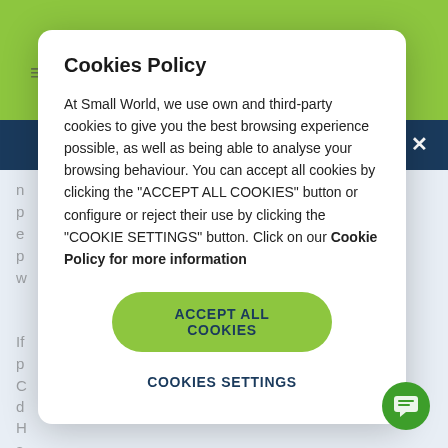[Figure (screenshot): Background webpage screenshot showing green top navigation bar, dark blue secondary nav bar with X close button, and light blue-grey page body with partially visible text fragments]
Cookies Policy
At Small World, we use own and third-party cookies to give you the best browsing experience possible, as well as being able to analyse your browsing behaviour. You can accept all cookies by clicking the "ACCEPT ALL COOKIES" button or configure or reject their use by clicking the "COOKIE SETTINGS" button. Click on our Cookie Policy for more information
ACCEPT ALL COOKIES
COOKIES SETTINGS